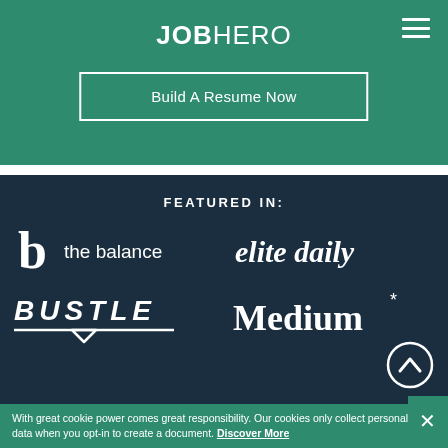JOBHERO
Build A Resume Now
FEATURED IN:
[Figure (logo): The Balance logo with bold 'b' icon and text 'the balance']
[Figure (logo): Elite Daily logo in italic serif font]
[Figure (logo): Bustle logo in italic bold uppercase letters with underline]
[Figure (logo): Medium logo in serif font with asterisk]
With great cookie power comes great responsibility. Our cookies only collect personal data when you opt-in to create a document. Discover More